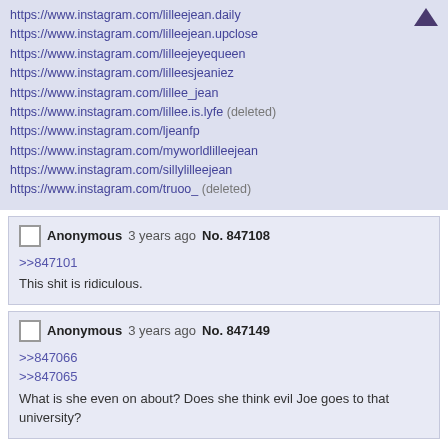https://www.instagram.com/lilleejean.daily
https://www.instagram.com/lilleejean.upclose
https://www.instagram.com/lilleejeyequeen
https://www.instagram.com/lilleesjeaniez
https://www.instagram.com/lillee_jean
https://www.instagram.com/lillee.is.lyfe (deleted)
https://www.instagram.com/ljeanfp
https://www.instagram.com/myworldlilleejean
https://www.instagram.com/sillylilleejean
https://www.instagram.com/truoo_ (deleted)
Anonymous 3 years ago No. 847108
>>847101
This shit is ridiculous.
Anonymous 3 years ago No. 847149
>>847066
>>847065
What is she even on about? Does she think evil Joe goes to that university?
Anonymous 3 years ago No. 847152
I have this theory. LJ was born around the time that weird looking little Hallie Eisenburg was all the rage in commercials. The mom sees she has a quirky weird looking toddler and grooms her for a similar future only when she grew up to be chunky and unattractive she either didn't see it because she's a narcissist and honestly they look the same or she just doubled down and plowed ahead full